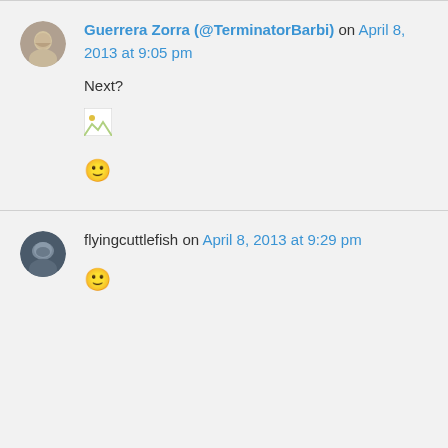Guerrera Zorra (@TerminatorBarbi) on April 8, 2013 at 9:05 pm
Next?
🙂
flyingcuttlefish on April 8, 2013 at 9:29 pm
🙂